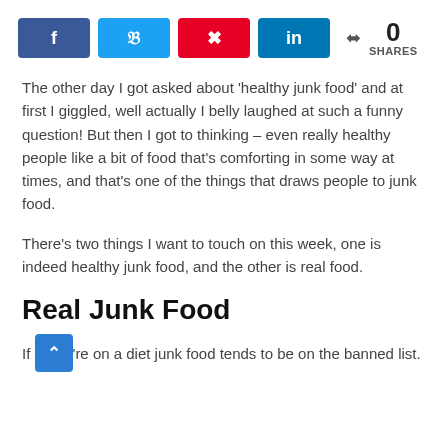[Figure (other): Social sharing bar with Facebook, Twitter, Pinterest, LinkedIn buttons and share count showing 0 SHARES]
The other day I got asked about 'healthy junk food' and at first I giggled, well actually I belly laughed at such a funny question! But then I got to thinking – even really healthy people like a bit of food that's comforting in some way at times, and that's one of the things that draws people to junk food.
There's two things I want to touch on this week, one is indeed healthy junk food, and the other is real food.
Real Junk Food
If you're on a diet junk food tends to be on the banned list.